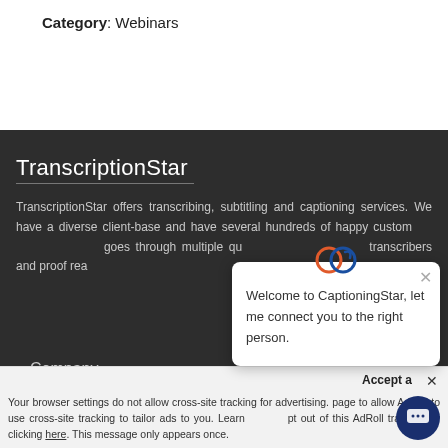Category: Webinars
TranscriptionStar
TranscriptionStar offers transcribing, subtitling and captioning services. We have a diverse client-base and have several hundreds of happy customers. Each transcript goes through multiple quality checks by expert transcribers and proof rea...
[Figure (screenshot): Chat popup widget with CaptioningStar logo and message: Welcome to CaptioningStar, let me connect you to the right person.]
Company
Your browser settings do not allow cross-site tracking for advertising. page to allow AdRoll to use cross-site tracking to tailor ads to you. Learn out of this AdRoll tracking by clicking here. This message only appears once.